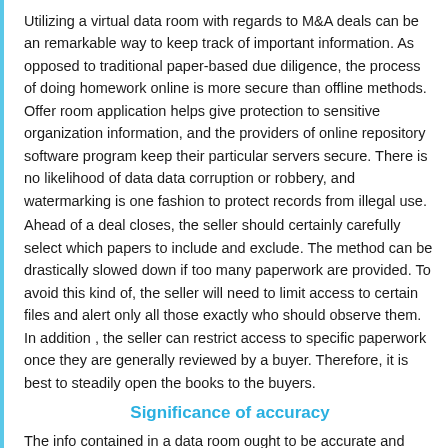Utilizing a virtual data room with regards to M&A deals can be an remarkable way to keep track of important information. As opposed to traditional paper-based due diligence, the process of doing homework online is more secure than offline methods. Offer room application helps give protection to sensitive organization information, and the providers of online repository software program keep their particular servers secure. There is no likelihood of data data corruption or robbery, and watermarking is one fashion to protect records from illegal use.
Ahead of a deal closes, the seller should certainly carefully select which papers to include and exclude. The method can be drastically slowed down if too many paperwork are provided. To avoid this kind of, the seller will need to limit access to certain files and alert only all those exactly who should observe them. In addition , the seller can restrict access to specific paperwork once they are generally reviewed by a buyer. Therefore, it is best to steadily open the books to the buyers.
Significance of accuracy
The info contained in a data room ought to be accurate and complete. Accuracy is important, as the customer must know precisely what he's